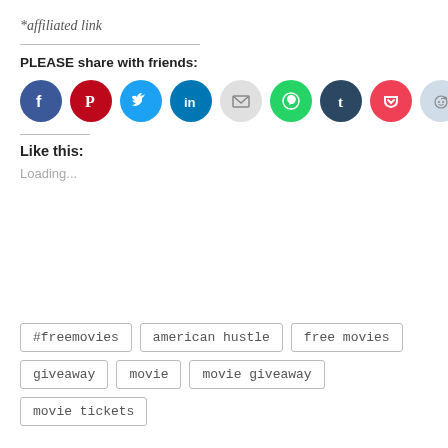*affiliated link
PLEASE share with friends:
[Figure (infographic): Row of 9 circular social media share buttons: Facebook (blue), Pinterest (red), Twitter (light blue), LinkedIn (dark blue), Email (gray), WhatsApp (green), Tumblr (dark navy), Pocket (red), Reddit (light blue-gray)]
Like this:
Loading...
#freemovies
american hustle
free movies
giveaway
movie
movie giveaway
movie tickets